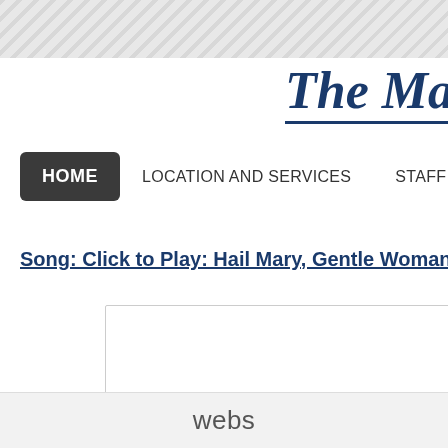The Ma
HOME  LOCATION AND SERVICES  STAFF  CONTACT U
Song:  Click to Play: Hail Mary, Gentle Woman.
[Figure (other): Embedded media player box, white rectangle with border]
webs